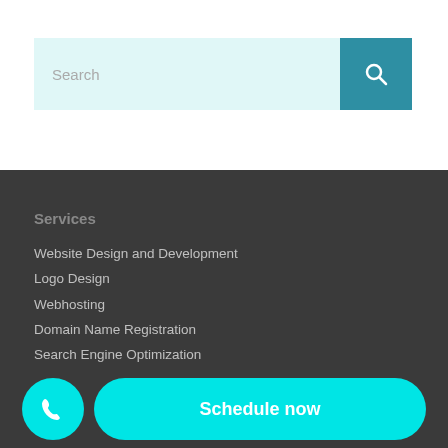[Figure (screenshot): Search bar with light teal input field and teal search button with magnifier icon]
Services
Website Design and Development
Logo Design
Webhosting
Domain Name Registration
Search Engine Optimization
Website Marketing Services
Contact Us